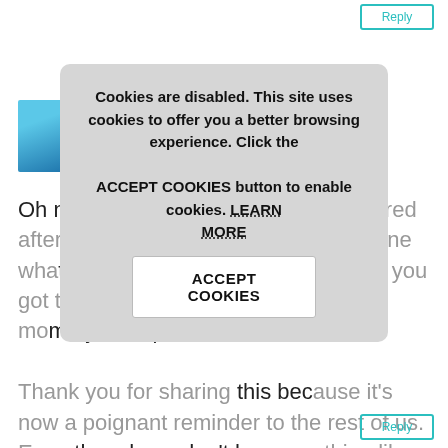[Figure (screenshot): Reply button (teal outline) in top-right corner]
Akshay Naik
Oh my goodness, Jennifer, I am so wired after just reading this. I can only imagine what she was feeling. Thank God that you got to her and you innately went on mommy auto-pilot.

Thank you for sharing this because it's now a poignant reminder to the rest of us. Even though we don't have anything like that in the house, I'm going to start preparing a medicine/pill discussion for my 3 year old.
[Figure (screenshot): Cookie consent modal dialog with message: Cookies are disabled. This site uses cookies to offer you a better browsing experience. Click the ACCEPT COOKIES button to enable cookies. LEARN MORE link and ACCEPT COOKIES button.]
[Figure (screenshot): Reply button (teal outline) in bottom-right corner]